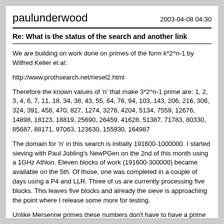paulunderwood | 2003-04-08 04:30
Re: What is the status of the search and another link
We are building on work done on primes of the form k*2^n-1 by Wilfred Keller et al:
http://www.prothsearch.net/riesel2.html
Therefore the known values of 'n' that make 3*2^n-1 prime are: 1, 2, 3, 4, 6, 7, 11, 18, 34, 38, 43, 55, 64, 76, 94, 103, 143, 206, 216, 306, 324, 391, 458, 470, 827, 1274, 3276, 4204, 5134, 7559, 12676, 14898, 18123, 18819, 25690, 26459, 41628, 51387, 71783, 80330, 85687, 88171, 97063, 123630, 155930, 164987
The domain for 'n' in this search is initially 191600-1000000. I started sieving with Paul Jobling's NewPGen on the 2nd of this month using a 1GHz Athlon. Eleven blocks of work (191600-300000) became available on the 5th. Of those, one was completed in a couple of days using a P4 and LLR. Three of us are currently processing five blocks. This leaves five blocks and already the sieve is approaching the point where I release some more for testing.
Unlike Mersenne primes these numbers don't have to have a prime binary length. They look like this in binary:
101
1011